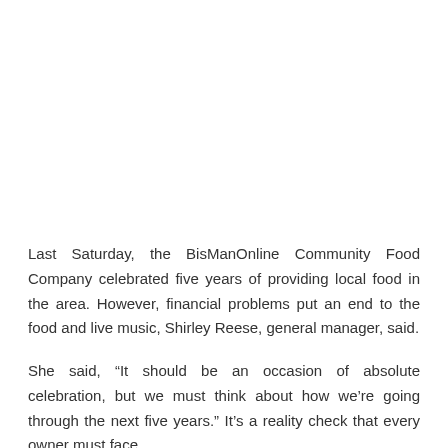Last Saturday, the BisManOnline Community Food Company celebrated five years of providing local food in the area. However, financial problems put an end to the food and live music, Shirley Reese, general manager, said.
She said, “It should be an occasion of absolute celebration, but we must think about how we’re going through the next five years.” It’s a reality check that every owner must face.